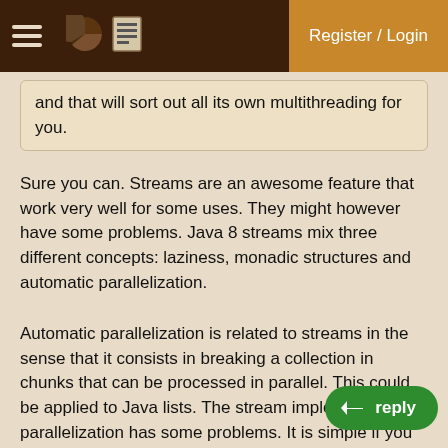Register / Login
and that will sort out all its own multithreading for you.
Sure you can. Streams are an awesome feature that work very well for some uses. They might however have some problems. Java 8 streams mix three different concepts: laziness, monadic structures and automatic parallelization.
Automatic parallelization is related to streams in the sense that it consists in breaking a collection in chunks that can be processed in parallel. This could be applied to Java lists. The stream implementation of parallelization has some problems. It is simple if you use it with the default configuration. It will break a collection of tasks in smaller tasks and feed them to worker threads, using the fork/join framework to aggregate the result. It uses work stealing in order to balance load among the workers. How many workers? As many as you computer as virtual cores less one (for the main